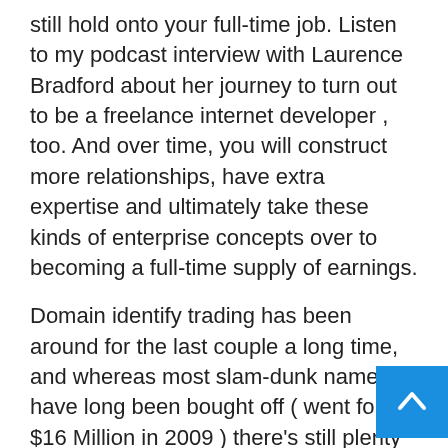still hold onto your full-time job. Listen to my podcast interview with Laurence Bradford about her journey to turn out to be a freelance internet developer , too. And over time, you will construct more relationships, have extra expertise and ultimately take these kinds of enterprise concepts over to becoming a full-time supply of earnings.
Domain identify trading has been around for the last couple a long time, and whereas most slam-dunk names have long been bought off ( went for $16 Million in 2009 ) there's still plenty of others which you can get your palms on for comparatively cheap and broker as your side business idea. However beware: some specialists doubt the long time period viability of this business idea, so that you shouldn't quit your day job just to put all of